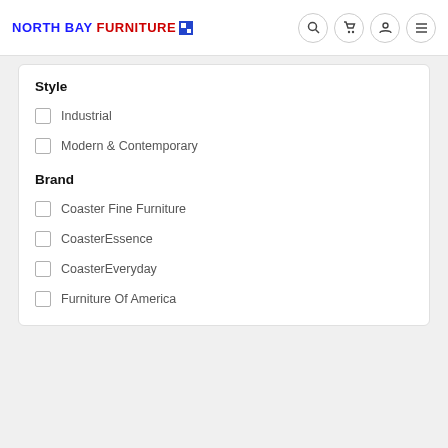NORTH BAY FURNITURE
Style
Industrial
Modern & Contemporary
Brand
Coaster Fine Furniture
CoasterEssence
CoasterEveryday
Furniture Of America